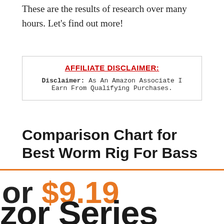These are the results of research over many hours. Let's find out more!
AFFILIATE DISCLAIMER: Disclaimer: As An Amazon Associate I Earn From Qualifying Purchases.
Comparison Chart for Best Worm Rig For Bass
or $9.19
zor Series Wacky